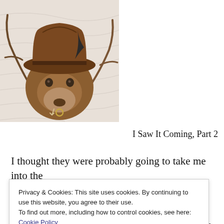[Figure (photo): A stuffed or toy animal (appears to be a bull or bison head mount) wearing a brown cowboy/fedora hat, lying on a white quilted surface with what appears to be antlers or horns and a small ring accessory.]
I Saw It Coming, Part 2
I thought they were probably going to take me into the
Privacy & Cookies: This site uses cookies. By continuing to use this website, you agree to their use.
To find out more, including how to control cookies, see here: Cookie Policy
Close and accept
long gone by the time I was able to pick myself up and